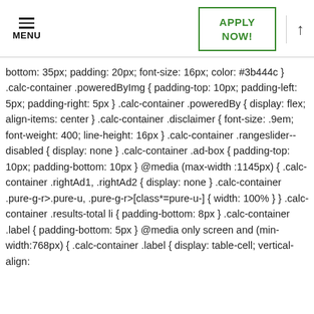MENU | APPLY NOW! | ↑
bottom: 35px; padding: 20px; font-size: 16px; color: #3b444c } .calc-container .poweredByImg { padding-top: 10px; padding-left: 5px; padding-right: 5px } .calc-container .poweredBy { display: flex; align-items: center } .calc-container .disclaimer { font-size: .9em; font-weight: 400; line-height: 16px } .calc-container .rangeslider--disabled { display: none } .calc-container .ad-box { padding-top: 10px; padding-bottom: 10px } @media (max-width :1145px) { .calc-container .rightAd1, .rightAd2 { display: none } .calc-container .pure-g-r>.pure-u, .pure-g-r>[class*=pure-u-] { width: 100% } } .calc-container .results-total li { padding-bottom: 8px } .calc-container .label { padding-bottom: 5px } @media only screen and (min-width:768px) { .calc-container .label { display: table-cell; vertical-align: